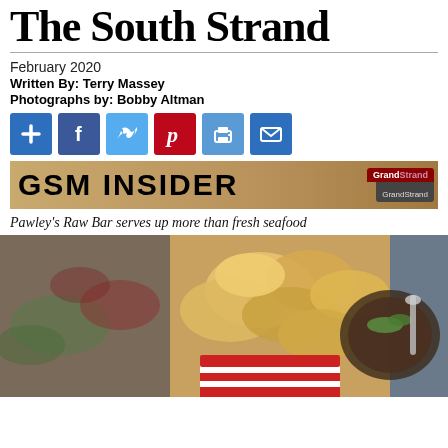The South Strand
February 2020
Written By: Terry Massey
Photographs by: Bobby Altman
[Figure (infographic): Social media sharing buttons: plus/add, Facebook, Twitter, Pinterest, Print, Email]
[Figure (infographic): GSM INSIDER advertisement banner with Grand Strand logo]
Pawley's Raw Bar serves up more than fresh seafood
[Figure (photo): Food photo showing chips/crisps in a red and white container alongside a seasoned dish with green garnish, at Pawley's Raw Bar]